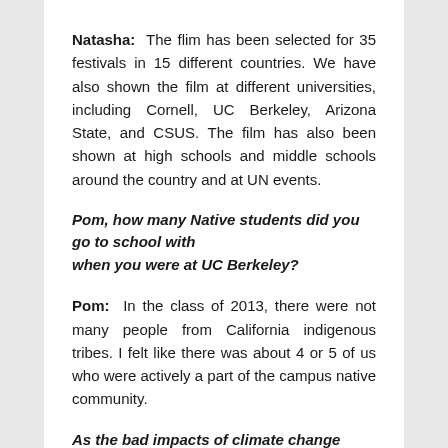Natasha: The flim has been selected for 35 festivals in 15 different countries. We have also shown the film at different universities, including Cornell, UC Berkeley, Arizona State, and CSUS. The film has also been shown at high schools and middle schools around the country and at UN events.
Pom, how many Native students did you go to school with when you were at UC Berkeley?
Pom: In the class of 2013, there were not many people from California indigenous tribes. I felt like there was about 4 or 5 of us who were actively a part of the campus native community.
As the bad impacts of climate change move forward, what can we do about it?